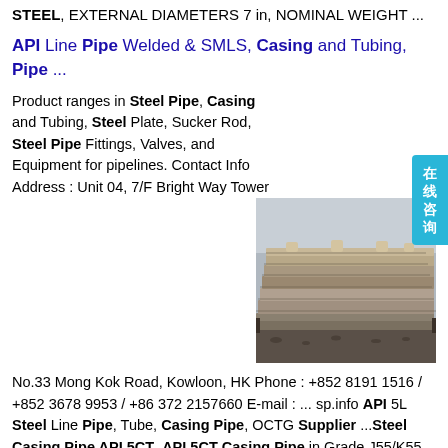STEEL, EXTERNAL DIAMETERS 7 in, NOMINAL WEIGHT ...
API Line Pipe Welded & SMLS, Casing and Tubing, Pipe ...
Product ranges in Steel Pipe, Casing and Tubing, Steel Plate, Sucker Rod, Steel Pipe Fittings, Valves, and Equipment for pipelines. Contact Info Address : Unit 04, 7/F Bright Way Tower No.33 Mong Kok Road, Kowloon, HK Phone : +852 8191 1516 / +852 3678 9953 / +86 372 2157660 E-mail : ... sp.info API 5L Steel Line Pipe, Tube, Casing Pipe, OCTG Supplier ...Steel Casing Pipe API 5CT. API 5CT Casing Pipe in Grade J55/K55, N80Q, C90, C95, P110, N80-1, Ends BTC,sp.info API 5CT L80 13Cr Material Supplier India L80 Casing Pipe Tube India division of the ...
[Figure (photo): Stack of steel plates or pipe sections stored in an industrial yard, viewed at an angle showing flat surfaces and edges.]